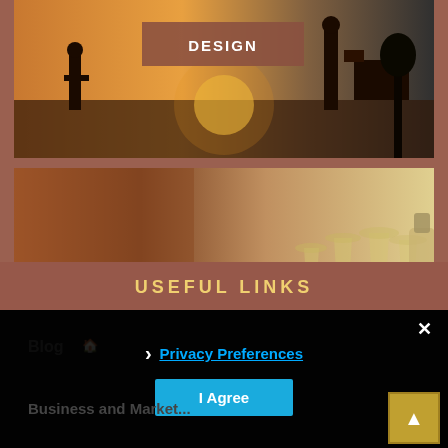[Figure (photo): Outdoor scene with construction workers silhouetted at sunset, with machinery and warm orange sky]
[Figure (photo): Table spread with appetizers/finger foods and champagne glasses filled with wine]
USEFUL LINKS
Blog
Business and Market...
Privacy Preferences
I Agree